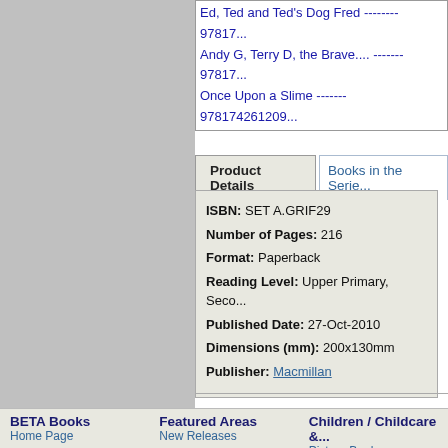Ed, Ted and Ted's Dog Fred -------- 97817...
Andy G, Terry D, the Brave.... ------- 97817...
Once Upon a Slime ------- 9781742612096
Product Details
Books in the Serie...
ISBN: SET A.GRIF29
Number of Pages: 216
Format: Paperback
Reading Level: Upper Primary, Seco...
Published Date: 27-Oct-2010
Dimensions (mm): 200x130mm
Publisher: Macmillan
BETA Books   Featured Areas   Children / Childcare &...